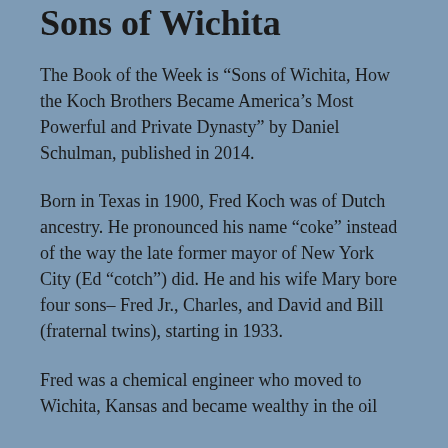Sons of Wichita
The Book of the Week is “Sons of Wichita, How the Koch Brothers Became America’s Most Powerful and Private Dynasty” by Daniel Schulman, published in 2014.
Born in Texas in 1900, Fred Koch was of Dutch ancestry. He pronounced his name “coke” instead of the way the late former mayor of New York City (Ed “cotch”) did. He and his wife Mary bore four sons– Fred Jr., Charles, and David and Bill (fraternal twins), starting in 1933.
Fred was a chemical engineer who moved to Wichita, Kansas and became wealthy in the oil